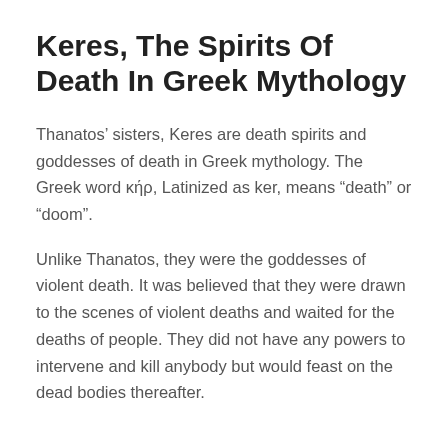Keres, The Spirits Of Death In Greek Mythology
Thanatos’ sisters, Keres are death spirits and goddesses of death in Greek mythology. The Greek word κήρ, Latinized as ker, means “death” or “doom”.
Unlike Thanatos, they were the goddesses of violent death. It was believed that they were drawn to the scenes of violent deaths and waited for the deaths of people. They did not have any powers to intervene and kill anybody but would feast on the dead bodies thereafter.